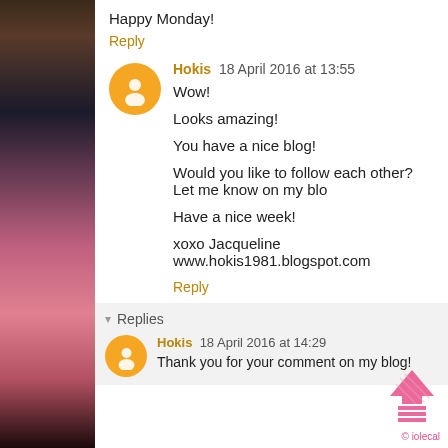[Figure (photo): Left side vertical photo strip showing a blurred outdoor scene with dark tones and pink/red hues]
Happy Monday!
Reply
Hokis  18 April 2016 at 13:55
Wow!

Looks amazing!

You have a nice blog!

Would you like to follow each other? Let me know on my blo

Have a nice week!

xoxo Jacqueline
www.hokis1981.blogspot.com
Reply
▾  Replies
Hokis  18 April 2016 at 14:29
Thank you for your comment on my blog!